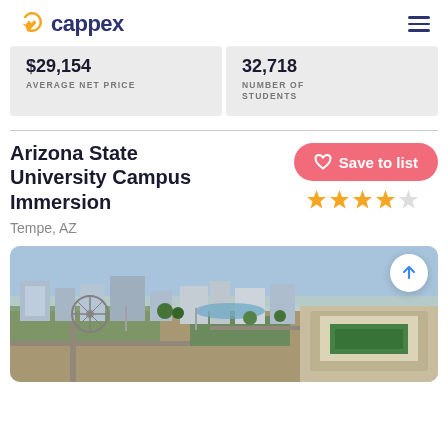cappex
$29,154 AVERAGE NET PRICE
32,718 NUMBER OF STUDENTS
Arizona State University Campus Immersion
Tempe, AZ
[Figure (photo): Aerial view of Arizona State University campus in Tempe, AZ showing stadium, buildings, and surrounding city landscape]